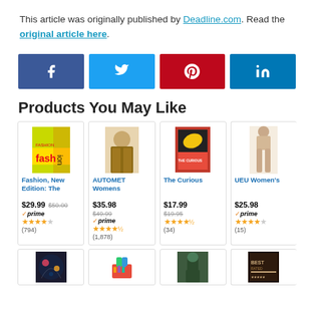This article was originally published by Deadline.com. Read the original article here.
[Figure (other): Social share buttons: Facebook (blue), Twitter (light blue), Pinterest (red), LinkedIn (dark blue)]
Products You May Like
[Figure (other): Product card: Fashion, New Edition: The — $29.99 (was $50.00), prime, 4 stars (794 reviews)]
[Figure (other): Product card: AUTOMET Womens — $35.98 (was $49.99), prime, 4.5 stars (1,878 reviews)]
[Figure (other): Product card: The Curious — $17.99 (was $19.95), 4 stars (34 reviews)]
[Figure (other): Product card: UEU Women's — $25.98, prime, 4 stars (15 reviews)]